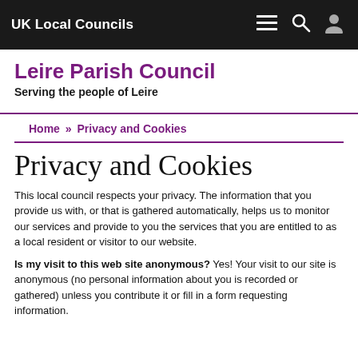UK Local Councils
Leire Parish Council
Serving the people of Leire
Home » Privacy and Cookies
Privacy and Cookies
This local council respects your privacy. The information that you provide us with, or that is gathered automatically, helps us to monitor our services and provide to you the services that you are entitled to as a local resident or visitor to our website.
Is my visit to this web site anonymous? Yes! Your visit to our site is anonymous (no personal information about you is recorded or gathered) unless you contribute it or fill in a form requesting information.